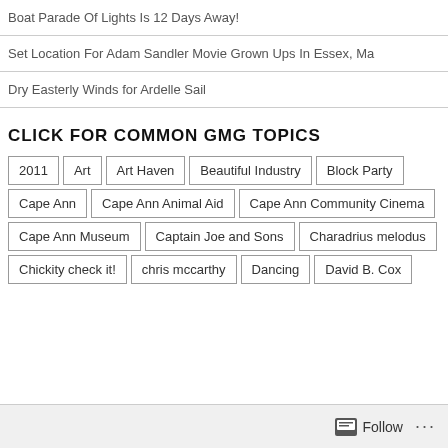Boat Parade Of Lights Is 12 Days Away!
Set Location For Adam Sandler Movie Grown Ups In Essex, Ma
Dry Easterly Winds for Ardelle Sail
CLICK FOR COMMON GMG TOPICS
2011
Art
Art Haven
Beautiful Industry
Block Party
Cape Ann
Cape Ann Animal Aid
Cape Ann Community Cinema
Cape Ann Museum
Captain Joe and Sons
Charadrius melodus
Chickity check it!
chris mccarthy
Dancing
David B. Cox
Follow ...